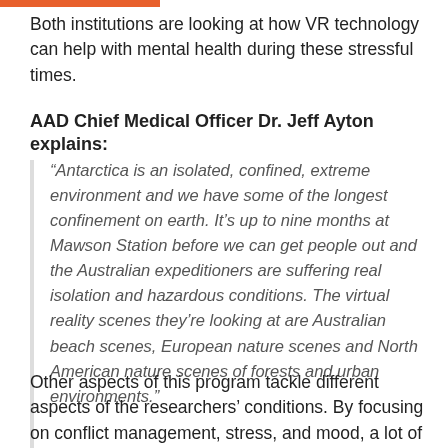Both institutions are looking at how VR technology can help with mental health during these stressful times.
AAD Chief Medical Officer Dr. Jeff Ayton explains:
“Antarctica is an isolated, confined, extreme environment and we have some of the longest confinement on earth. It’s up to nine months at Mawson Station before we can get people out and the Australian expeditioners are suffering real isolation and hazardous conditions. The virtual reality scenes they’re looking at are Australian beach scenes, European nature scenes and North American nature scenes of forests and urban environments.”
Other aspects of this program tackle different aspects of the researchers’ conditions. By focusing on conflict management, stress, and mood, a lot of valuable information can be obtained from this VR experiment.